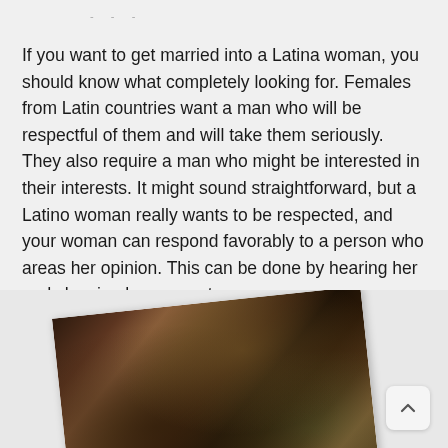- - -
If you want to get married into a Latina woman, you should know what completely looking for. Females from Latin countries want a man who will be respectful of them and will take them seriously. They also require a man who might be interested in their interests. It might sound straightforward, but a Latino woman really wants to be respected, and your woman can respond favorably to a person who areas her opinion. This can be done by hearing her and showing her respect.
[Figure (photo): A rotated photograph showing what appears to be a woman with long brown/auburn hair outdoors, with greenery visible in the background. The image is displayed at a slight counter-clockwise angle.]